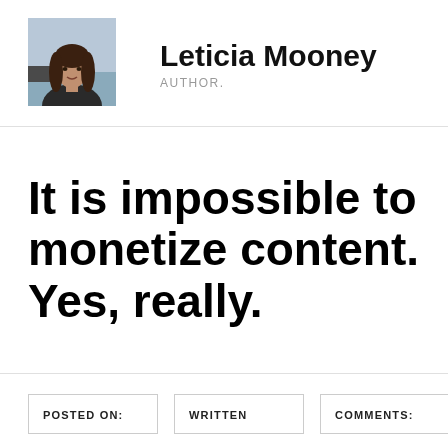[Figure (photo): Author portrait photo of Leticia Mooney, a woman with long dark hair, outdoors near water]
Leticia Mooney
AUTHOR.
It is impossible to monetize content. Yes, really.
POSTED ON:
WRITTEN
COMMENTS: